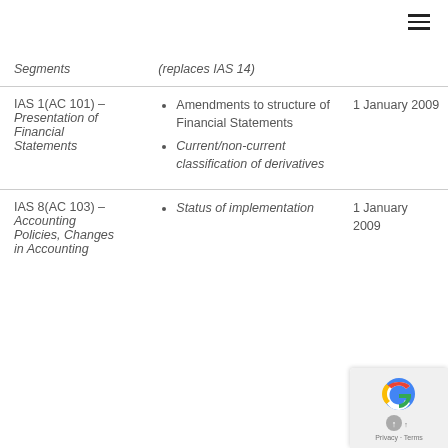| Standard | Amendment/Requirement | Effective Date |
| --- | --- | --- |
| Segments | (replaces IAS 14) |  |
| IAS 1(AC 101) – Presentation of Financial Statements | • Amendments to structure of Financial Statements
• Current/non-current classification of derivatives | 1 January 2009 |
| IAS 8(AC 103) – Accounting Policies, Changes in Accounting | • Status of implementation | 1 January 2009 |